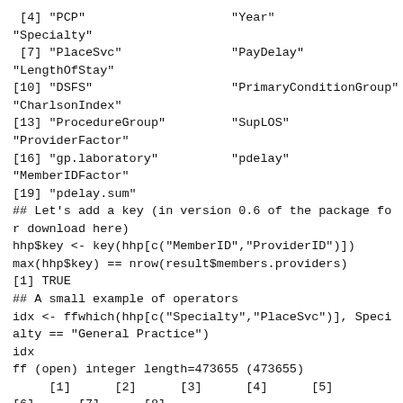[4] "PCP"                    "Year"
"Specialty"
 [7] "PlaceSvc"               "PayDelay"
"LengthOfStay"
[10] "DSFS"                   "PrimaryConditionGroup"
"CharlsonIndex"
[13] "ProcedureGroup"         "SupLOS"
"ProviderFactor"
[16] "gp.laboratory"          "pdelay"
"MemberIDFactor"
[19] "pdelay.sum"
## Let's add a key (in version 0.6 of the package fo
r download here)
hhp$key <- key(hhp[c("MemberID","ProviderID")])
max(hhp$key) == nrow(result$members.providers)
[1] TRUE
## A small example of operators
idx <- ffwhich(hhp[c("Specialty","PlaceSvc")], Speci
alty == "General Practice")
idx
ff (open) integer length=473655 (473655)
     [1]      [2]      [3]      [4]      [5]
[6]      [7]      [8]
      18       19       20       31       35       4
2       45       62